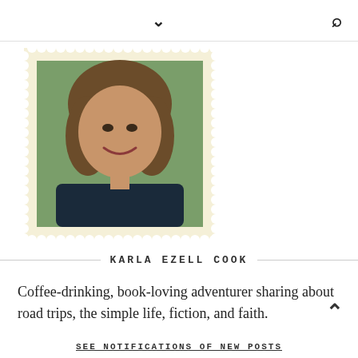▾ 🔍
[Figure (photo): Profile photo of Karla Ezell Cook styled as a postage stamp with perforated edges on a cream/beige background. The photo shows a smiling woman with shoulder-length brown hair wearing a dark jacket.]
KARLA EZELL COOK
Coffee-drinking, book-loving adventurer sharing about road trips, the simple life, fiction, and faith.
SEE NOTIFICATIONS OF NEW POSTS